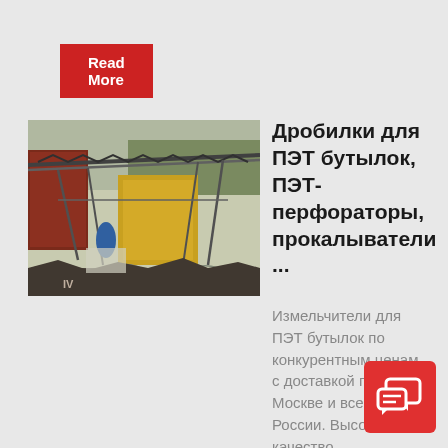Read More
[Figure (photo): Industrial machinery/crusher equipment outdoors with metal structures, yellow machinery, containers, and sky background]
Дробилки для ПЭТ бутылок, ПЭТ-перфораторы, прокалыватели ...
Измельчители для ПЭТ бутылок по конкурентным ценам с доставкой по Москве и всей России. Высо качество обслуживани специалистам компании Netmus и гарантии на все
[Figure (illustration): Red chat/messaging icon overlay at bottom right corner]